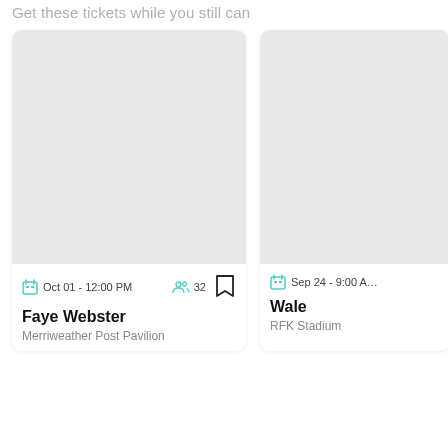Get these tickets while you still can
[Figure (other): Event card for Faye Webster at Merriweather Post Pavilion, Oct 01 - 12:00 PM, 32 attendees, with bookmark icon and gray placeholder image]
[Figure (other): Partially visible event card for Wale at RFK Stadium, Sep 24 - 9:00 AM, with gray placeholder image]